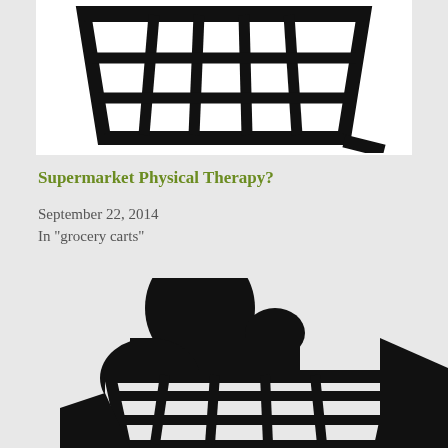[Figure (illustration): Black and white icon of a shopping basket / grocery cart viewed from front, on white background]
Supermarket Physical Therapy?
September 22, 2014
In "grocery carts"
[Figure (illustration): Black silhouette of a person pushing a grocery cart, overlapping with shopping basket icon, on grey background]